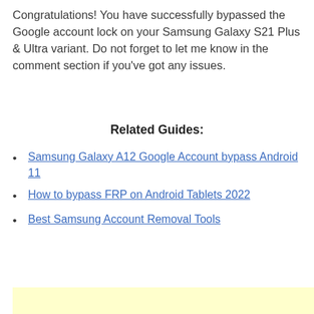Congratulations! You have successfully bypassed the Google account lock on your Samsung Galaxy S21 Plus & Ultra variant. Do not forget to let me know in the comment section if you've got any issues.
Related Guides:
Samsung Galaxy A12 Google Account bypass Android 11
How to bypass FRP on Android Tablets 2022
Best Samsung Account Removal Tools
[Figure (other): Yellow advertisement or content box at bottom of page]